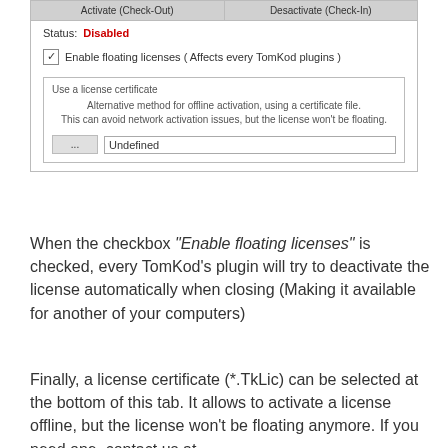[Figure (screenshot): Screenshot of a license manager UI showing Activate (Check-Out) and Desactivate (Check-In) buttons, Status: Disabled in red, a checkbox for Enable floating licenses (Affects every TomKod plugins), and a Use a license certificate group with a browse button and Undefined text field.]
When the checkbox “Enable floating licenses” is checked, every TomKod’s plugin will try to deactivate the license automatically when closing (Making it available for another of your computers)
Finally, a license certificate (*.TkLic) can be selected at the bottom of this tab. It allows to activate a license offline, but the license won’t be floating anymore. If you need one, contact us at